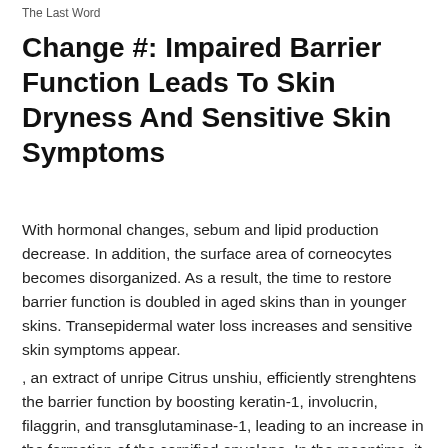The Last Word
Change #: Impaired Barrier Function Leads To Skin Dryness And Sensitive Skin Symptoms
With hormonal changes, sebum and lipid production decrease. In addition, the surface area of corneocytes becomes disorganized. As a result, the time to restore barrier function is doubled in aged skins than in younger skins. Transepidermal water loss increases and sensitive skin symptoms appear.
, an extract of unripe Citrus unshiu, efficiently strenghtens the barrier function by boosting keratin-1, involucrin, filaggrin, and transglutaminase-1, leading to an increase in the formation of the cornified envelope. In the meantime, it also